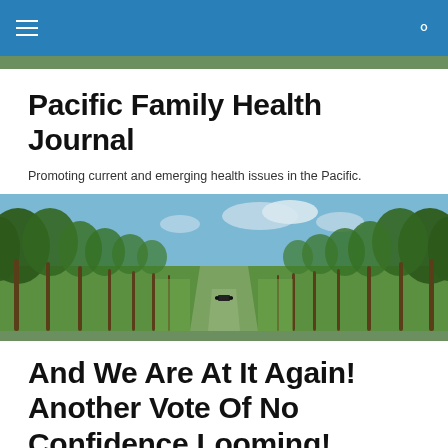Pacific Family Health Journal — navigation bar
Pacific Family Health Journal
Promoting current and emerging health issues in the Pacific.
[Figure (photo): A wide panoramic photograph of a tropical park or plantation with tall palm trees lining a central grassy path leading into the distance. A small vehicle or drone is visible on the path. Green lawn, blue sky, and dense palm canopy on both sides.]
And We Are At It Again! Another Vote Of No Confidence Looming!